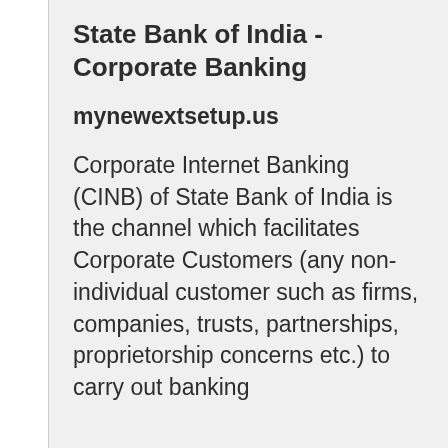State Bank of India - Corporate Banking
mynewextsetup.us
Corporate Internet Banking (CINB) of State Bank of India is the channel which facilitates Corporate Customers (any non- individual customer such as firms, companies, trusts, partnerships, proprietorship concerns etc.) to carry out banking